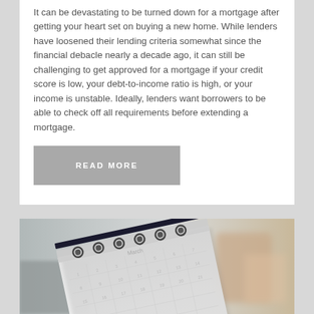It can be devastating to be turned down for a mortgage after getting your heart set on buying a new home. While lenders have loosened their lending criteria somewhat since the financial debacle nearly a decade ago, it can still be challenging to get approved for a mortgage if your credit score is low, your debt-to-income ratio is high, or your income is unstable. Ideally, lenders want borrowers to be able to check off all requirements before extending a mortgage.
READ MORE
[Figure (photo): Close-up photo of a spiral-bound desk calendar, slightly angled, with blurred background showing warm tones.]